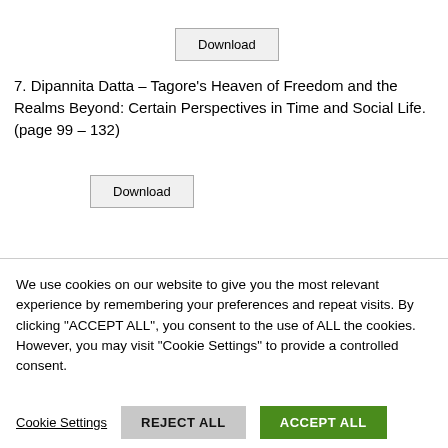[Figure (other): Download button at top of page]
7. Dipannita Datta – Tagore's Heaven of Freedom and the Realms Beyond: Certain Perspectives in Time and Social Life. (page 99 – 132)
[Figure (other): Download button below list item 7]
We use cookies on our website to give you the most relevant experience by remembering your preferences and repeat visits. By clicking "ACCEPT ALL", you consent to the use of ALL the cookies. However, you may visit "Cookie Settings" to provide a controlled consent.
Cookie Settings   REJECT ALL   ACCEPT ALL